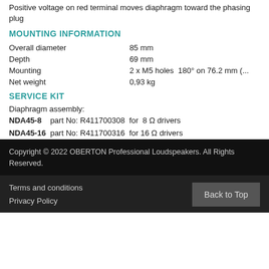Positive voltage on red terminal moves diaphragm toward the phasing plug
MOUNTING INFORMATION
| Overall diameter | 85 mm |
| Depth | 69 mm |
| Mounting | 2 x M5 holes 180° on 76.2 mm (... |
| Net weight | 0,93 kg |
SERVICE KIT
Diaphragm assembly:
NDA45-8   part No: R411700308  for  8 Ω drivers
NDA45-16  part No: R411700316  for 16 Ω drivers
Copyright © 2022 OBERTON Professional Loudspeakers. All Rights Reserved.
Terms and conditions
Privacy Policy
Back to Top